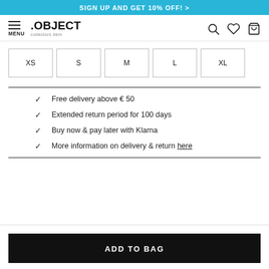SIGN UP AND GET 10% OFF! >
.OBJECT collectors item
XS
S
M
L
XL
✓ Free delivery above € 50
✓ Extended return period for 100 days
✓ Buy now & pay later with Klarna
✓ More information on delivery & return here
ADD TO BAG